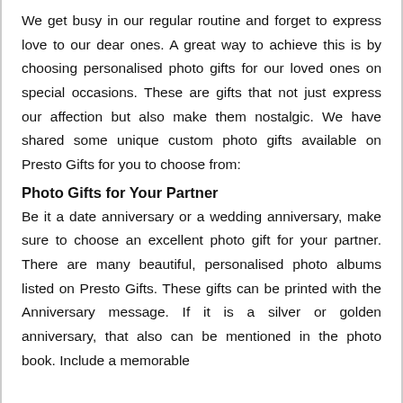We get busy in our regular routine and forget to express love to our dear ones. A great way to achieve this is by choosing personalised photo gifts for our loved ones on special occasions. These are gifts that not just express our affection but also make them nostalgic. We have shared some unique custom photo gifts available on Presto Gifts for you to choose from:
Photo Gifts for Your Partner
Be it a date anniversary or a wedding anniversary, make sure to choose an excellent photo gift for your partner. There are many beautiful, personalised photo albums listed on Presto Gifts. These gifts can be printed with the Anniversary message. If it is a silver or golden anniversary, that also can be mentioned in the photo book. Include a memorable